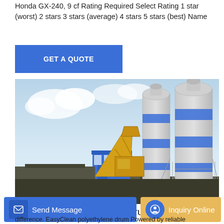Honda GX-240, 9 cf Rating Required Select Rating 1 star (worst) 2 stars 3 stars (average) 4 stars 5 stars (best) Name
[Figure (other): Blue button with text GET A QUOTE]
[Figure (photo): Industrial concrete batching plant with large blue and white cylindrical silos, yellow conveyor belt structure, blue office building, and metal framework]
Multiquip MC94PH8 - Poly drum concrete
[Figure (other): Bottom navigation bar with Send Message button (blue) and Inquiry Online button (tan/gold)]
industr... difference. EasyClean polyethylene drum Powered by reliable